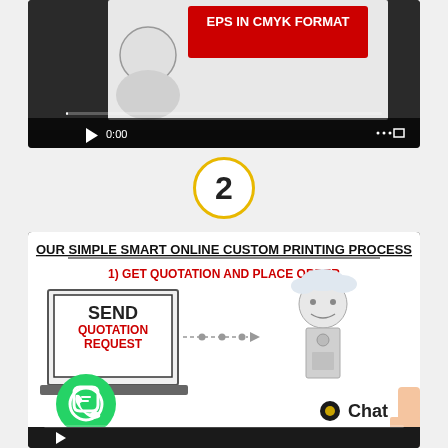[Figure (screenshot): Video thumbnail showing a cartoon character holding a sign reading 'EPS IN CMYK FORMAT', with video player controls showing 0:00 timestamp at the bottom]
2
[Figure (screenshot): Video thumbnail for 'Our Simple Smart Online Custom Printing Process' - Step 1: Get Quotation And Place Order. Shows a laptop with 'SEND QUOTATION REQUEST' screen and a robot figure. WhatsApp button and Chat button overlay visible.]